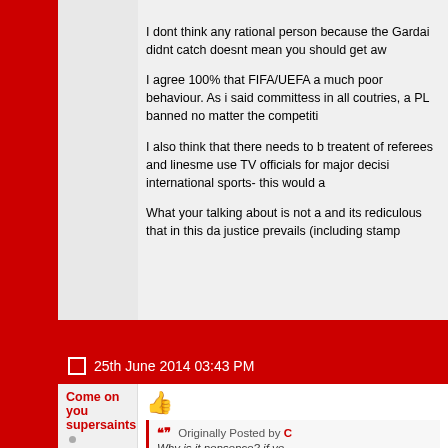I dont think any rational person because the Gardai didnt catch doesnt mean you should get aw

I agree 100% that FIFA/UEFA a much poor behaviour. As i said committess in all coutries, a PL banned no matter the competiti

I also think that there needs to b treatent of referees and linesme use TV officials for major decisi international sports- this would a

What your talking about is not a and its rediculous that in this da justice prevails (including stamp
25th June 2014 03:43 PM
Come on you supersaints
Patrons
Join Date: Jul 2010
Location: Rathfarnham
Posts: 2,427
Originally Posted by C Why is it nonsence? if yo